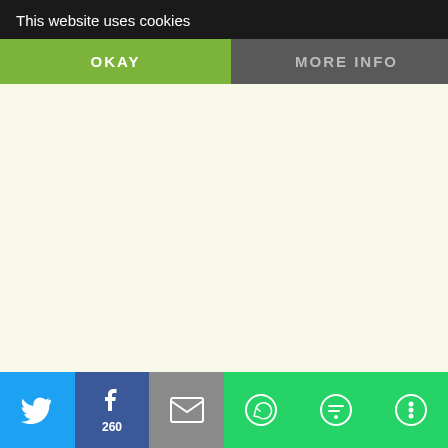This website uses cookies
OKAY
MORE INFO
the act now going through parliament now it may be possible to have the te... ask at Embassy or consulate if you ar... hear your news re citizenship applic...
Like
Reply
Jerry Vlasic says: July 5, 2019 at 4:29 pm
Wonder when the final vote will occur after discussion is concluded
Loading...
inavukic says:
260
[Figure (screenshot): Social share bar at bottom with Twitter, Facebook (260), Email, WhatsApp, SMS, and more icons]